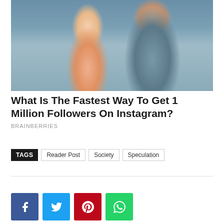[Figure (photo): Two people in a mirror selfie — a woman in a pink feathered outfit with long blonde curly hair and pink gloves, and a bald man with a mustache in a gray jacket taking the photo with a phone.]
What Is The Fastest Way To Get 1 Million Followers On Instagram?
BRAINBERRIES
TAGS  Reader Post  Society  Speculation